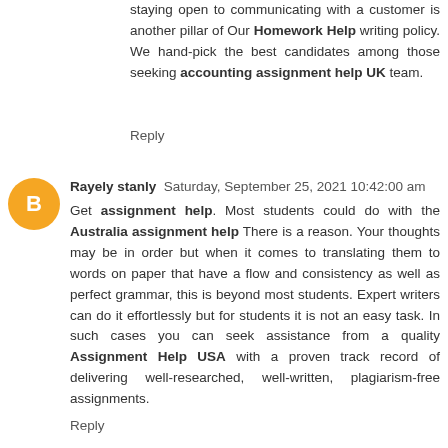staying open to communicating with a customer is another pillar of Our Homework Help writing policy. We hand-pick the best candidates among those seeking accounting assignment help UK team.
Reply
Rayely stanly  Saturday, September 25, 2021 10:42:00 am
Get assignment help. Most students could do with the Australia assignment help There is a reason. Your thoughts may be in order but when it comes to translating them to words on paper that have a flow and consistency as well as perfect grammar, this is beyond most students. Expert writers can do it effortlessly but for students it is not an easy task. In such cases you can seek assistance from a quality Assignment Help USA with a proven track record of delivering well-researched, well-written, plagiarism-free assignments.
Reply